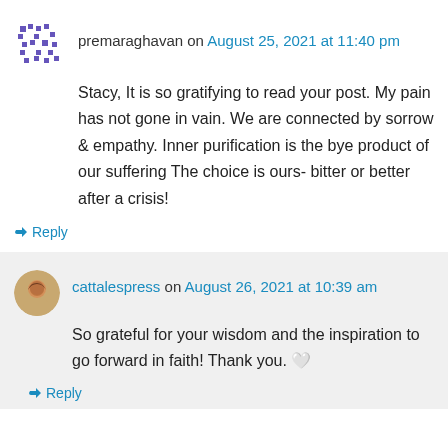premaraghavan on August 25, 2021 at 11:40 pm
Stacy, It is so gratifying to read your post. My pain has not gone in vain. We are connected by sorrow & empathy. Inner purification is the bye product of our suffering The choice is ours- bitter or better after a crisis!
↳ Reply
cattalespress on August 26, 2021 at 10:39 am
So grateful for your wisdom and the inspiration to go forward in faith! Thank you.
↳ Reply